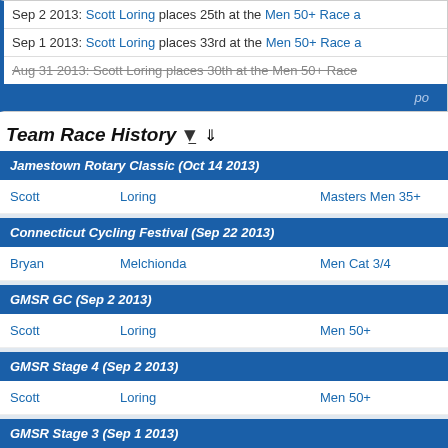Sep 2 2013: Scott Loring places 25th at the Men 50+ Race a
Sep 1 2013: Scott Loring places 33rd at the Men 50+ Race a
Aug 31 2013: Scott Loring places 30th at the Men 50+ Race
Team Race History
| First | Last | Category |
| --- | --- | --- |
| Jamestown Rotary Classic (Oct 14 2013) |  |  |
| Scott | Loring | Masters Men 35+ |
| Connecticut Cycling Festival (Sep 22 2013) |  |  |
| Bryan | Melchionda | Men Cat 3/4 |
| GMSR GC (Sep 2 2013) |  |  |
| Scott | Loring | Men 50+ |
| GMSR Stage 4 (Sep 2 2013) |  |  |
| Scott | Loring | Men 50+ |
| GMSR Stage 3 (Sep 1 2013) |  |  |